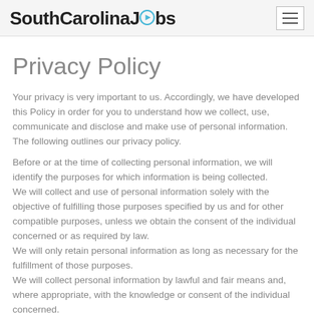SouthCarolinaJobs
Privacy Policy
Your privacy is very important to us. Accordingly, we have developed this Policy in order for you to understand how we collect, use, communicate and disclose and make use of personal information. The following outlines our privacy policy.
Before or at the time of collecting personal information, we will identify the purposes for which information is being collected.
We will collect and use of personal information solely with the objective of fulfilling those purposes specified by us and for other compatible purposes, unless we obtain the consent of the individual concerned or as required by law.
We will only retain personal information as long as necessary for the fulfillment of those purposes.
We will collect personal information by lawful and fair means and, where appropriate, with the knowledge or consent of the individual concerned.